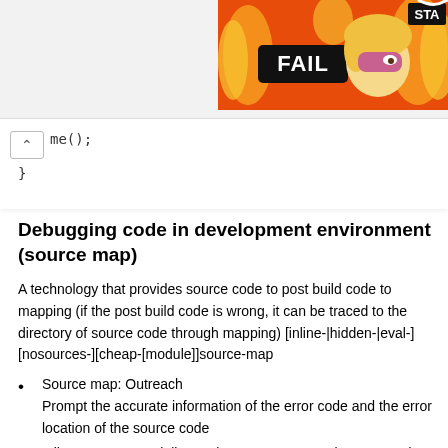[Figure (illustration): Colorful banner image with flames, a cartoon blonde woman facepalming, and text 'FAIL' and 'STA...' on a red/orange background]
me();
Debugging code in development environment (source map)
A technology that provides source code to post build code to mapping (if the post build code is wrong, it can be traced to the directory of source code through mapping) [inline-|hidden-|eval-][nosources-][cheap-[module]]source-map
Source map: Outreach
Prompt the accurate information of the error code and the error location of the source code
Inline source map: inline: only one source map is generated
Prompt the accurate information of the error code and the error location of the source code